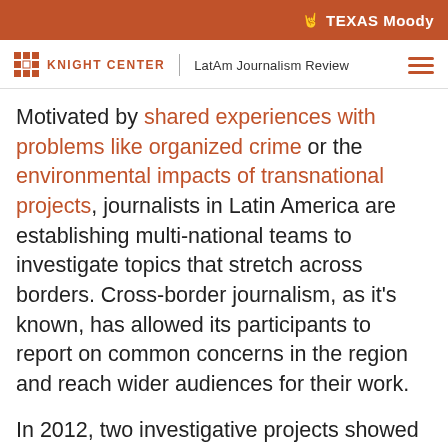TEXAS Moody
KNIGHT CENTER | LatAm Journalism Review
Motivated by shared experiences with problems like organized crime or the environmental impacts of transnational projects, journalists in Latin America are establishing multi-national teams to investigate topics that stretch across borders. Cross-border journalism, as it's known, has allowed its participants to report on common concerns in the region and reach wider audiences for their work.
In 2012, two investigative projects showed